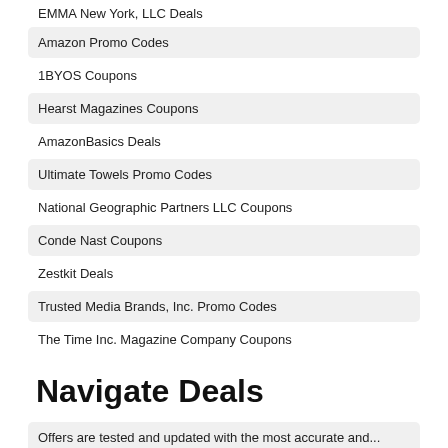EMMA New York, LLC Deals
Amazon Promo Codes
1BYOS Coupons
Hearst Magazines Coupons
AmazonBasics Deals
Ultimate Towels Promo Codes
National Geographic Partners LLC Coupons
Conde Nast Coupons
Zestkit Deals
Trusted Media Brands, Inc. Promo Codes
The Time Inc. Magazine Company Coupons
Navigate Deals
Offers are tested and updated with the most accurate and...